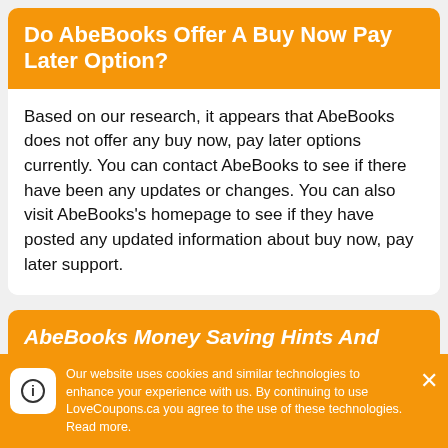Do AbeBooks Offer A Buy Now Pay Later Option?
Based on our research, it appears that AbeBooks does not offer any buy now, pay later options currently. You can contact AbeBooks to see if there have been any updates or changes. You can also visit AbeBooks’s homepage to see if they have posted any updated information about buy now, pay later support.
AbeBooks Money Saving Hints And Tips.
Our website uses cookies and similar technologies to enhance your experience with us. By continuing to use LoveCoupons.ca you agree to the use of these technologies. Read more.